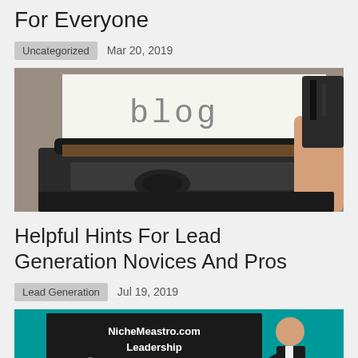For Everyone
Uncategorized   Mar 20, 2019
[Figure (photo): A typewriter with paper showing the word 'blog' typed on it, with a hand adjusting the paper roller]
Helpful Hints For Lead Generation Novices And Pros
Lead Generation   Jul 19, 2019
[Figure (photo): A teal/green background image with text 'NicheMeastro.com Leadership Tips' and a cartoon figure of a person in a suit]